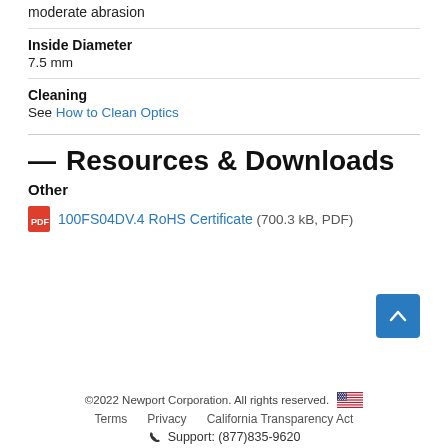moderate abrasion
Inside Diameter
7.5 mm
Cleaning
See How to Clean Optics
— Resources & Downloads
Other
100FS04DV.4 RoHS Certificate (700.3 kB, PDF)
©2022 Newport Corporation. All rights reserved. Terms Privacy California Transparency Act Support: (877)835-9620